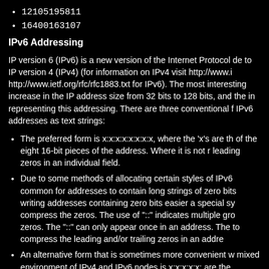12105195811
16400163107
IPv6 Addressing
IP version 6 (IPv6) is a new version of the Internet Protocol de to IP version 4 (IPv4) (for information on IPv4 visit http://www.i http://www.ietf.org/rfc/rfc1883.txt for IPv6). The most interesting increase in the IP address size from 32 bits to 128 bits, and the in representing this addressing. There are three conventional f IPv6 addresses as text strings:
The preferred form is x:x:x:x:x:x:x:x, where the 'x's are the of the eight 16-bit pieces of the address. Where it is not r leading zeros in an individual field.
Due to some methods of allocating certain styles of IPv6 common for addresses to contain long strings of zero bits writing addresses containing zero bits easier a special sy compress the zeros. The use of "::" indicates multiple gr zeros. The "::" can only appear once in an address. The to compress the leading and/or trailing zeros in an addre
An alternative form that is sometimes more convenient w mixed environment of IPv4 and IPv6 nodes is x:x:x:x:x: are the hexadecimal values of the six high-order 16-bit p and the 'd's are the decimal values of the four low-order